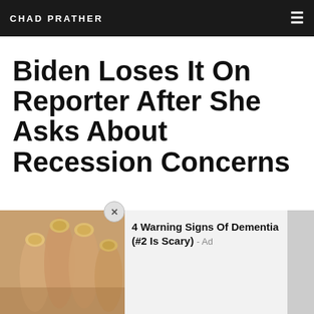CHAD PRATHER
Biden Loses It On Reporter After She Asks About Recession Concerns
[Figure (photo): Advertisement banner showing close-up photo of fingernails with text '4 Warning Signs Of Dementia (#2 Is Scary) - Ad']